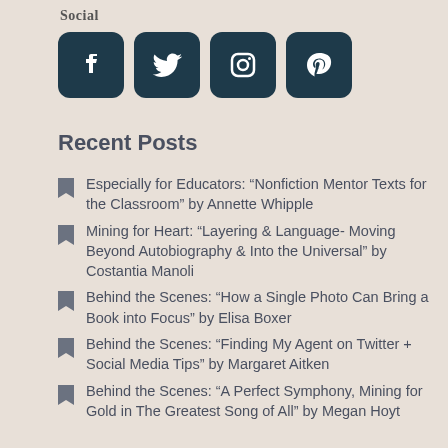Social
[Figure (infographic): Four social media icons in dark teal rounded square boxes: Facebook, Twitter, Instagram, Pinterest]
Recent Posts
Especially for Educators: “Nonfiction Mentor Texts for the Classroom” by Annette Whipple
Mining for Heart: “Layering & Language- Moving Beyond Autobiography & Into the Universal” by Costantia Manoli
Behind the Scenes: “How a Single Photo Can Bring a Book into Focus” by Elisa Boxer
Behind the Scenes: “Finding My Agent on Twitter + Social Media Tips” by Margaret Aitken
Behind the Scenes: “A Perfect Symphony, Mining for Gold in The Greatest Song of All” by Megan Hoyt